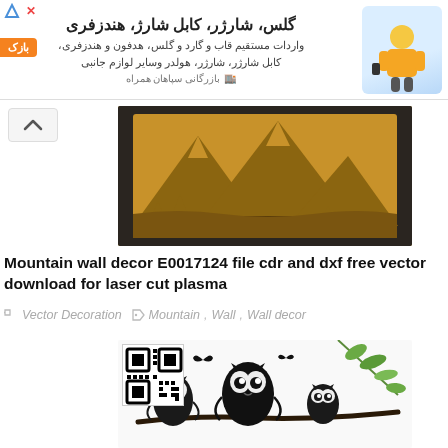[Figure (infographic): Persian language advertisement banner for a mobile accessories store (glasses, chargers, cables, handicrafts). Shows Persian text and a person in yellow shirt.]
[Figure (photo): Laser-cut wooden mountain wall decor panel displayed against a dark brick wall background.]
Mountain wall decor E0017124 file cdr and dxf free vector download for laser cut plasma
Vector Decoration   Mountain, Wall, Wall decor
[Figure (illustration): Black silhouette illustration of owls sitting on a branch with butterflies, with a QR code overlay in the top-left corner. Green leaves visible on the right.]